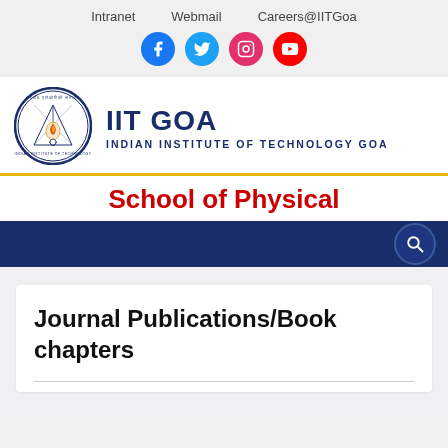Intranet   Webmail   Careers@IITGoa
[Figure (logo): Social media icons: Facebook, Twitter, Instagram, YouTube]
[Figure (logo): IIT Goa circular emblem logo]
IIT GOA
INDIAN INSTITUTE OF TECHNOLOGY GOA
School of Physical
Journal Publications/Book chapters